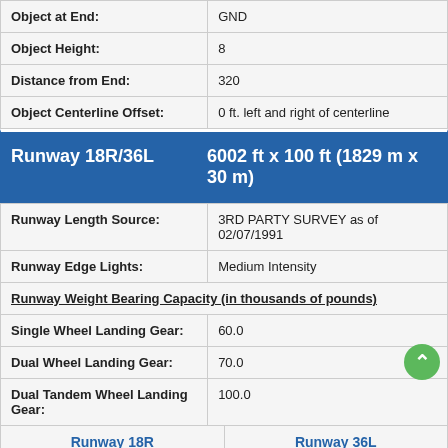| Field | Value |
| --- | --- |
| Object at End: | GND |
| Object Height: | 8 |
| Distance from End: | 320 |
| Object Centerline Offset: | 0 ft. left and right of centerline |
Runway 18R/36L   6002 ft x 100 ft (1829 m x 30 m)
| Field | Value |
| --- | --- |
| Runway Length Source: | 3RD PARTY SURVEY as of 02/07/1991 |
| Runway Edge Lights: | Medium Intensity |
| Runway Weight Bearing Capacity (in thousands of pounds) |  |
| Single Wheel Landing Gear: | 60.0 |
| Dual Wheel Landing Gear: | 70.0 |
| Dual Tandem Wheel Landing Gear: | 100.0 |
| Runway 18R | Runway 36L |
| --- | --- |